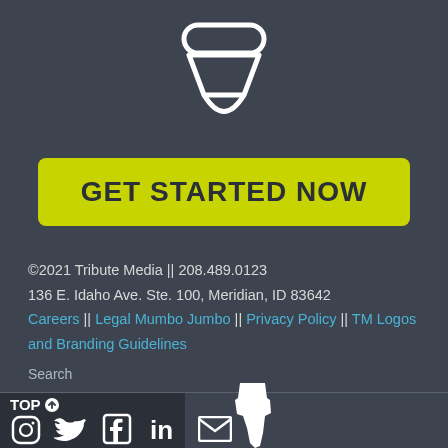[Figure (logo): Tribute Media logo icon - stylized bowl/funnel shape in white on dark background]
GET STARTED NOW
©2021 Tribute Media || 208.489.0123
136 E. Idaho Ave. Ste. 100, Meridian, ID 83642
Careers || Legal Mumbo Jumbo || Privacy Policy || TM Logos and Branding Guidelines
Search
[Figure (infographic): Footer bar with TOP arrow, social media icons: Instagram, Twitter, Facebook, LinkedIn, Email/envelope. Below: Idaho state map outline in white.]